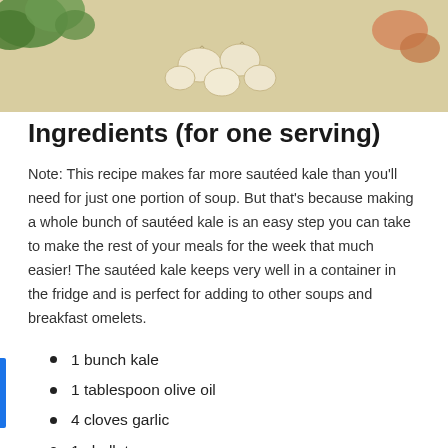[Figure (photo): Top portion of a food/recipe photo showing garlic cloves and green herbs on a beige/tan surface]
Ingredients (for one serving)
Note: This recipe makes far more sautéed kale than you'll need for just one portion of soup. But that's because making a whole bunch of sautéed kale is an easy step you can take to make the rest of your meals for the week that much easier! The sautéed kale keeps very well in a container in the fridge and is perfect for adding to other soups and breakfast omelets.
1 bunch kale
1 tablespoon olive oil
4 cloves garlic
1 shallot